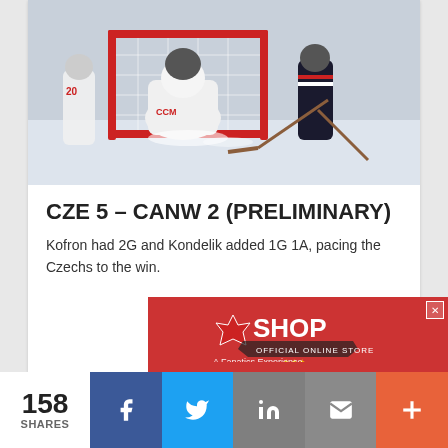[Figure (photo): Ice hockey action shot: goalie making a save in front of red net, players in white and dark jerseys around the crease, snow spraying on ice]
CZE 5 – CANW 2 (PRELIMINARY)
Kofron had 2G and Kondelik added 1G 1A, pacing the Czechs to the win.
[Figure (infographic): Red advertisement banner for an official online shop (Fanatics Experience)]
158 SHARES
[Figure (infographic): Social share buttons: Facebook, Twitter, LinkedIn, Email, More (+)]